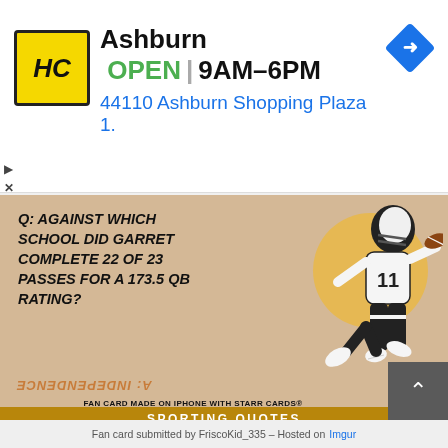[Figure (screenshot): Ad banner for HC store in Ashburn showing logo, OPEN status, hours 9AM-6PM, address 44110 Ashburn Shopping Plaza 1., and navigation arrow icon]
Ashburn  OPEN  9AM–6PM
44110 Ashburn Shopping Plaza 1.
[Figure (infographic): Football trivia card on beige background with illustration of football player #11. Question: Q: AGAINST WHICH SCHOOL DID GARRET COMPLETE 22 OF 23 PASSES FOR A 173.5 QB RATING? Answer (upside down): A: INDEPENDENCE]
SPORTING QUOTES
“It was ideal for football - too cold for the spectators and too cold for the players.”
–Red Smith
FAN CARD MADE ON iPHONE WITH STARR CARDS®
Fan card submitted by FriscoKid_335 – Hosted on Imgur